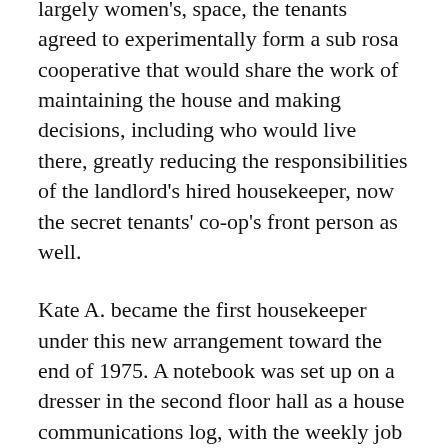largely women's, space, the tenants agreed to experimentally form a sub rosa cooperative that would share the work of maintaining the house and making decisions, including who would live there, greatly reducing the responsibilities of the landlord's hired housekeeper, now the secret tenants' co-op's front person as well.
Kate A. became the first housekeeper under this new arrangement toward the end of 1975. A notebook was set up on a dresser in the second floor hall as a house communications log, with the weekly job rosters, house rules, and meeting notices. Over time, messages about happenings in the community as well as individuals' lives accumulated in the log. [The log has been preserved at the Sophia Smith Collection, Smith